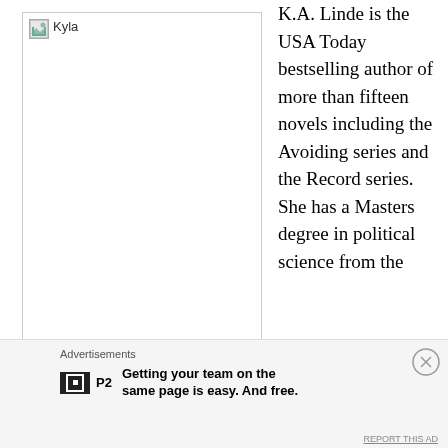[Figure (photo): Photo placeholder of Kyla (author photo)]
K.A. Linde is the USA Today bestselling author of more than fifteen novels including the Avoiding series and the Record series. She has a Masters degree in political science from the University of Georgia, was the head campaign
Advertisements
[Figure (logo): P2 logo advertisement: Getting your team on the same page is easy. And free.]